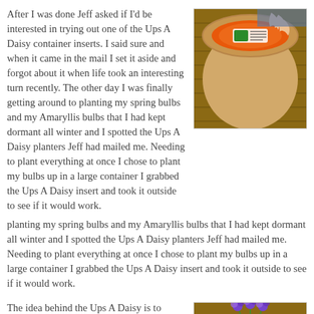After I was done Jeff asked if I'd be interested in trying out one of the Ups A Daisy container inserts. I said sure and when it came in the mail I set it aside and forgot about it when life took an interesting turn recently. The other day I was finally getting around to planting my spring bulbs and my Amaryllis bulbs that I had kept dormant all winter and I spotted the Ups A Daisy planters Jeff had mailed me. Needing to plant everything at once I chose to plant my bulbs up in a large container I grabbed the Ups A Daisy insert and took it outside to see if it would work.
[Figure (photo): Overhead view of a person placing an Ups A Daisy insert (orange disc with packaging) into a large tan/beige garden pot on a wooden deck surface.]
The idea behind the Ups A Daisy is to eliminate the need to fill the bottom of your garden pot with packing peanuts, soil or empty water bottles. I didn't get a chance to save up any packing peanuts this winter for my large pots so the Ups A Daisy came in handy. You measure the inside of your pot with a measuring tape and
[Figure (photo): Person wearing white gardening gloves planting purple pansies into a large tan cylindrical garden pot filled with dark soil, on a wooden deck.]